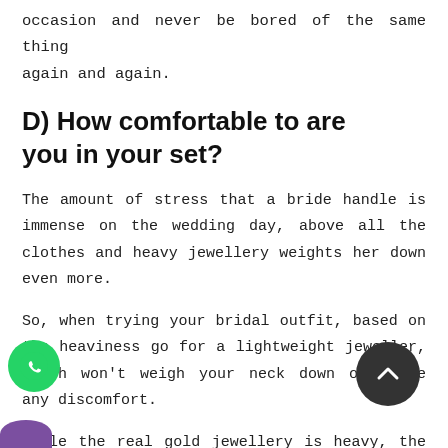occasion and never be bored of the same thing again and again.
D) How comfortable to are you in your set?
The amount of stress that a bride handle is immense on the wedding day, above all the clothes and heavy jewellery weights her down even more.
So, when trying your bridal outfit, based on the heaviness go for a lightweight jeweller, which won't weigh your neck down or cause any discomfort.
While the real gold jewellery is heavy, the one on rent is lighter in weight and comfortable to